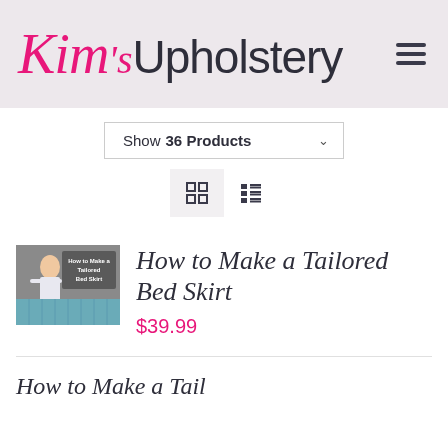[Figure (logo): Kim's Upholstery logo with stylized pink italic 'Kim's' and dark sans-serif 'Upholstery' text, hamburger menu icon on right, on a light mauve background]
Show 36 Products
[Figure (other): Grid view icon (active) and list view icon toggle buttons]
[Figure (photo): Thumbnail image for 'How to Make a Tailored Bed Skirt' showing a person and fabric with text overlay]
How to Make a Tailored Bed Skirt
$39.99